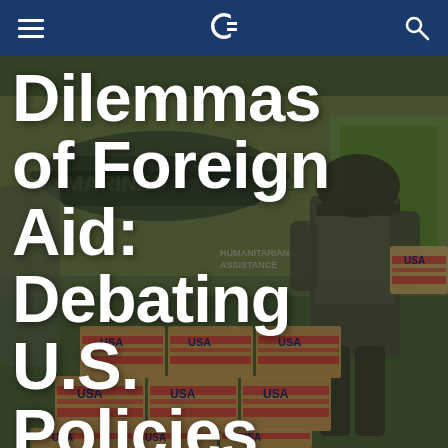C (Coursera logo navigation bar)
[Figure (photo): Military personnel in helmet and body armor carrying USA-labeled humanitarian aid boxes, with other USA boxes stacked in foreground, helicopter visible in background. Text overlay visible: HUMANITARIAN ASSISTANCE]
Dilemmas of Foreign Aid: Debating U.S. Policies